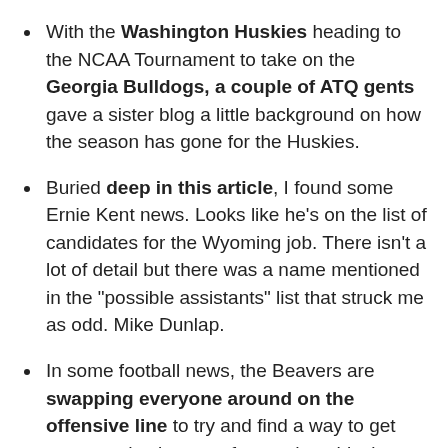With the Washington Huskies heading to the NCAA Tournament to take on the Georgia Bulldogs, a couple of ATQ gents gave a sister blog a little background on how the season has gone for the Huskies.
Buried deep in this article, I found some Ernie Kent news. Looks like he's on the list of candidates for the Wyoming job. There isn't a lot of detail but there was a name mentioned in the "possible assistants" list that struck me as odd. Mike Dunlap.
In some football news, the Beavers are swapping everyone around on the offensive line to try and find a way to get more production out of an underachieving group. The Beavers have a pretty forgiving schedule to start the year so they should have plenty of time to get used to their new